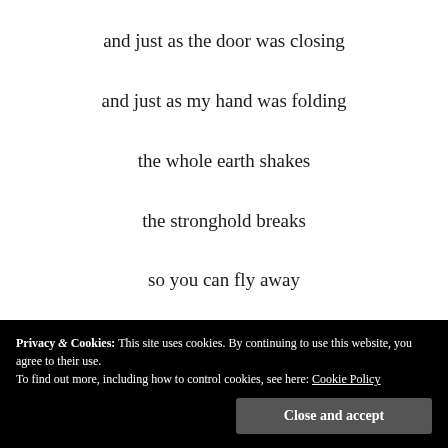and just as the door was closing
and just as my hand was folding
the whole earth shakes
the stronghold breaks
so you can fly away
Now you fall like a shadow I cannot touch
Well, it's good to know
Privacy & Cookies: This site uses cookies. By continuing to use this website, you agree to their use.
To find out more, including how to control cookies, see here: Cookie Policy